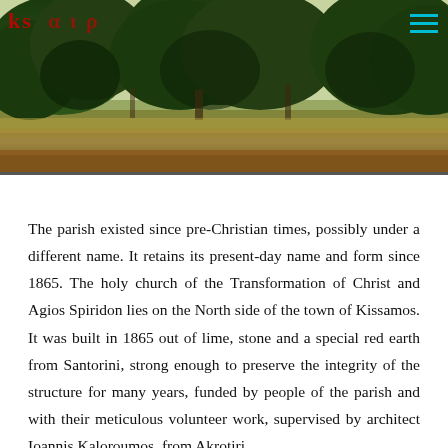[Figure (photo): Photograph of an outdoor scene with dense green trees/shrubs, dry grass, and reddish-brown earth in the foreground. Red text overlay visible at the top left. Cyan hamburger menu icon at the top right.]
The parish existed since pre-Christian times, possibly under a different name. It retains its present-day name and form since 1865. The holy church of the Transformation of Christ and Agios Spiridon lies on the North side of the town of Kissamos. It was built in 1865 out of lime, stone and a special red earth from Santorini, strong enough to preserve the integrity of the structure for many years, funded by people of the parish and with their meticulous volunteer work, supervised by architect Ioannis Kaloroumos, from Akrotiri.